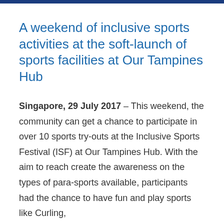A weekend of inclusive sports activities at the soft-launch of sports facilities at Our Tampines Hub
Singapore, 29 July 2017 – This weekend, the community can get a chance to participate in over 10 sports try-outs at the Inclusive Sports Festival (ISF) at Our Tampines Hub. With the aim to reach create the awareness on the types of para-sports available, participants had the chance to have fun and play sports like Curling,